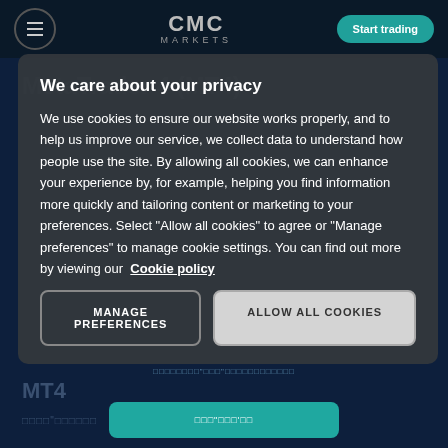CMC MARKETS
MetaTrader 4 (MT4)
We care about your privacy
We use cookies to ensure our website works properly, and to help us improve our service, we collect data to understand how people use the site. By allowing all cookies, we can enhance your experience by, for example, helping you find information more quickly and tailoring content or marketing to your preferences. Select "Allow all cookies" to agree or "Manage preferences" to manage cookie settings. You can find out more by viewing our Cookie policy
MANAGE PREFERENCES
ALLOW ALL COOKIES